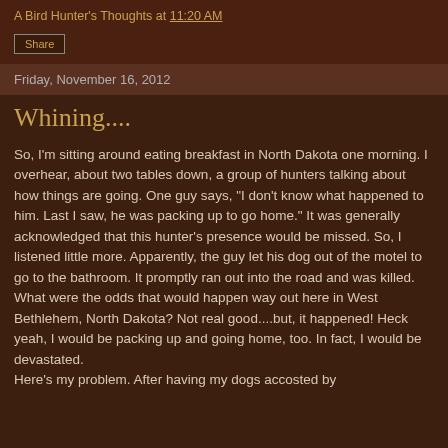A Bird Hunter's Thoughts at 11:20 AM
Share
Friday, November 16, 2012
Whining....
So, I'm sitting around eating breakfast in North Dakota one morning. I overhear, about two tables down, a group of hunters talking about how things are going. One guy says, "I don't know what happened to him. Last I saw, he was packing up to go home." It was generally acknowledged that this hunter's presence would be missed. So, I listened little more. Apparently, the guy let his dog out of the motel to go to the bathroom. It promptly ran out into the road and was killed. What were the odds that would happen way out here in West Bethlehem, North Dakota? Not real good....but, it happened!  Heck yeah, I would be packing up and going home, too. In fact, I would be devastated.

Here's my problem. After having my dogs accosted by